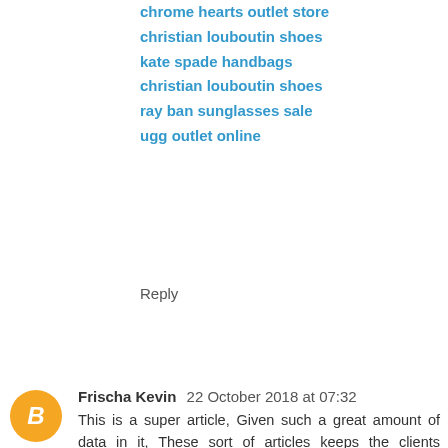chrome hearts outlet store
christian louboutin shoes
kate spade handbags
christian louboutin shoes
ray ban sunglasses sale
ugg outlet online
Reply
Frischa Kevin  22 October 2018 at 07:32
This is a super article, Given such a great amount of data in it, These sort of articles keeps the clients enthusiasm for the site, and continue sharing more... Good fortunes.
http://129.121.17.5/
http://mobilemaxbet.org/
http://www.wwwsbobet.net/
http://www.ibcbetbola.com/
http://www.cbetmobile.com/
http://www.linkalternatifarenabet168.org/
http://www.sakongindplay.com/
http://www.situsdomino.info/